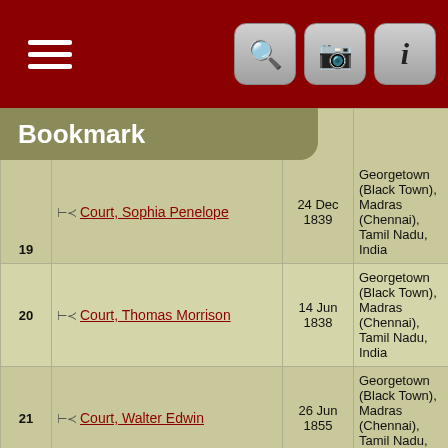Bookmark
| # | Name | Date | Place | ID |
| --- | --- | --- | --- | --- |
| 19 | Court, Sophia Penelope | 24 Dec 1839 | Georgetown (Black Town), Madras (Chennai), Tamil Nadu, India | I122025881 |
| 20 | Court, Thomas Morrison | 14 Jun 1838 | Georgetown (Black Town), Madras (Chennai), Tamil Nadu, India | I88225 |
| 21 | Court, Walter Edwin | 26 Jun 1855 | Georgetown (Black Town), Madras (Chennai), Tamil Nadu, India | I89855 |
| 22 | Court, William Henry Edwin (Twin) | 26 Jun 1861 | Georgetown (Black Town), Madras (Chennai), Tamil Nadu, India | I89856 |